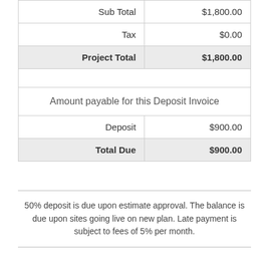|  |  |
| --- | --- |
| Sub Total | $1,800.00 |
| Tax | $0.00 |
| Project Total | $1,800.00 |
| Amount payable for this Deposit Invoice |  |
| Deposit | $900.00 |
| Total Due | $900.00 |
50% deposit is due upon estimate approval. The balance is due upon sites going live on new plan. Late payment is subject to fees of 5% per month.